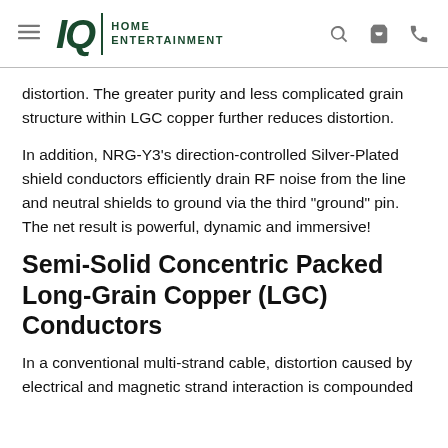IQ HOME ENTERTAINMENT
distortion. The greater purity and less complicated grain structure within LGC copper further reduces distortion.
In addition, NRG-Y3’s direction-controlled Silver-Plated shield conductors efficiently drain RF noise from the line and neutral shields to ground via the third “ground” pin. The net result is powerful, dynamic and immersive!
Semi-Solid Concentric Packed Long-Grain Copper (LGC) Conductors
In a conventional multi-strand cable, distortion caused by electrical and magnetic strand interaction is compounded